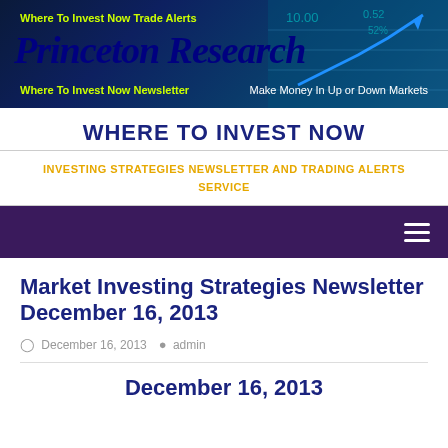[Figure (screenshot): Princeton Research banner with dark blue background, logo text 'Princeton Research' in italic, 'Where To Invest Now Trade Alerts' in yellow-green, 'Where To Invest Now Newsletter' and 'Make Money In Up or Down Markets' text, with stock chart graphic on right]
WHERE TO INVEST NOW
INVESTING STRATEGIES NEWSLETTER AND TRADING ALERTS SERVICE
Menu (hamburger icon)
Market Investing Strategies Newsletter December 16, 2013
December 16, 2013  admin
December 16, 2013